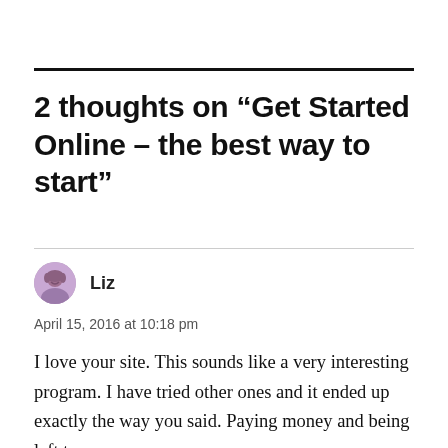2 thoughts on “Get Started Online – the best way to start”
Liz
April 15, 2016 at 10:18 pm
I love your site. This sounds like a very interesting program. I have tried other ones and it ended up exactly the way you said. Paying money and being left to my own